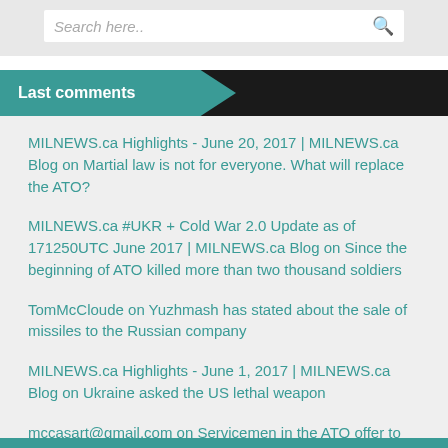Search here..
Last comments
MILNEWS.ca Highlights - June 20, 2017 | MILNEWS.ca Blog on Martial law is not for everyone. What will replace the ATO?
MILNEWS.ca #UKR + Cold War 2.0 Update as of 171250UTC June 2017 | MILNEWS.ca Blog on Since the beginning of ATO killed more than two thousand soldiers
TomMcCloude on Yuzhmash has stated about the sale of missiles to the Russian company
MILNEWS.ca Highlights - June 1, 2017 | MILNEWS.ca Blog on Ukraine asked the US lethal weapon
mccasart@gmail.com on Servicemen in the ATO offer to voluntarily be tested for HIV/AIDS